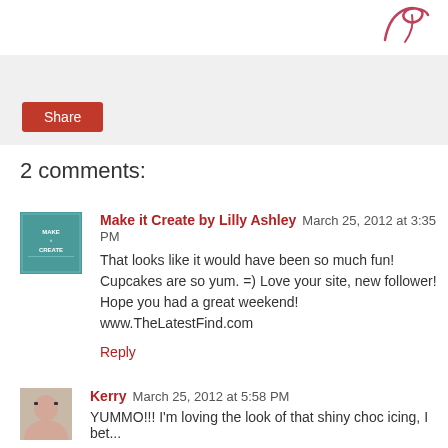[Figure (logo): Cursive/script style decorative logo in pink/red at top right corner]
[Figure (other): Gray share bar with red Share button]
2 comments:
Make it Create by Lilly Ashley March 25, 2012 at 3:35 PM
That looks like it would have been so much fun! Cupcakes are so yum. =) Love your site, new follower! Hope you had a great weekend!
www.TheLatestFind.com
Reply
Kerry March 25, 2012 at 5:58 PM
YUMMO!!! I'm loving the look of that shiny choc icing, I bet...